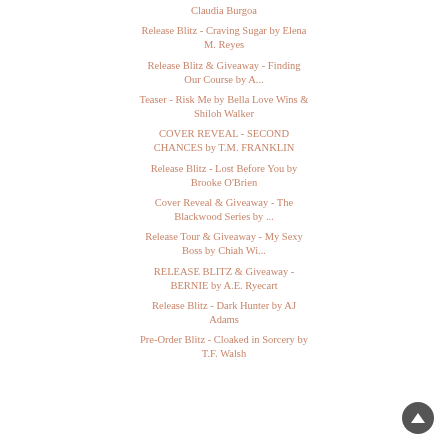Claudia Burgoa
Release Blitz - Craving Sugar by Elena M. Reyes
Release Blitz & Giveaway - Finding Our Course by A...
Teaser - Risk Me by Bella Love Wins & Shiloh Walker
COVER REVEAL - SECOND CHANCES by T.M. FRANKLIN
Release Blitz - Lost Before You by Brooke O'Brien
Cover Reveal & Giveaway - The Blackwood Series by ...
Release Tour & Giveaway - My Sexy Boss by Chiah Wi...
RELEASE BLITZ & Giveaway - BERNIE by A.E. Ryecart
Release Blitz - Dark Hunter by AJ Adams
Pre-Order Blitz - Cloaked in Sorcery by T.F. Walsh